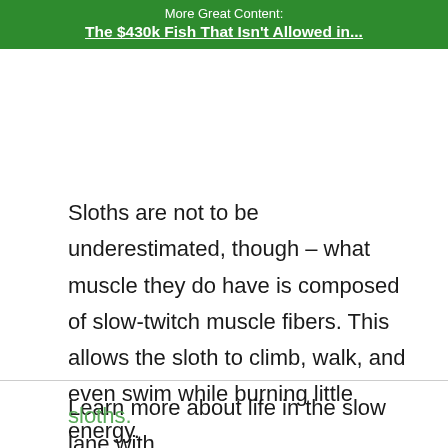More Great Content:
The $430k Fish That Isn't Allowed in...
Sloths are not to be underestimated, though – what muscle they do have is composed of slow-twitch muscle fibers. This allows the sloth to climb, walk, and even swim while burning little energy.
Learn more about life in the slow lane with
sloths.